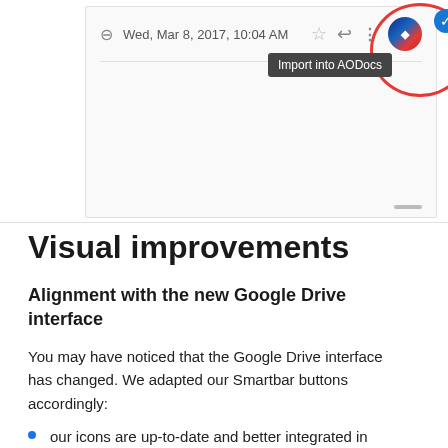[Figure (screenshot): Gmail interface screenshot showing Wed, Mar 8, 2017, 10:04 AM with toolbar icons and 'Import into AODocs' button highlighted with a red circle]
Visual improvements
Alignment with the new Google Drive interface
You may have noticed that the Google Drive interface has changed. We adapted our Smartbar buttons accordingly:
our icons are up-to-date and better integrated in the new interface
the New menu in Secured Folders is correctly displayed (with new styles applied)
the library picker style has been revamped to better fit in the new Google Drive interface